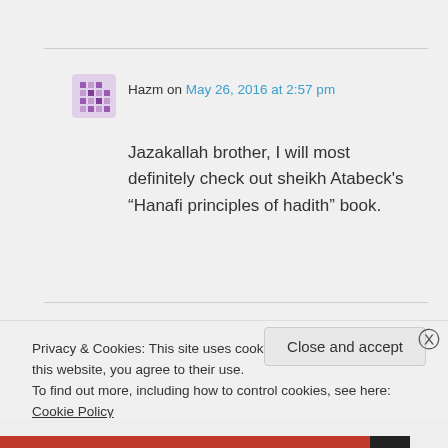Hazm on May 26, 2016 at 2:57 pm
Jazakallah brother, I will most definitely check out sheikh Atabeck's “Hanafi principles of hadith” book.
Privacy & Cookies: This site uses cookies. By continuing to use this website, you agree to their use.
To find out more, including how to control cookies, see here: Cookie Policy
Close and accept